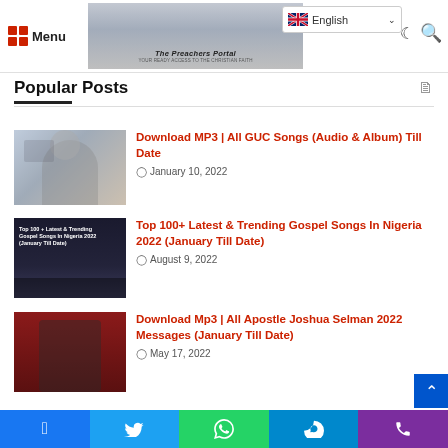Menu | The Preachers Portal | English
Popular Posts
[Figure (photo): Thumbnail photo of a man wearing glasses and a plaid shirt]
Download MP3 | All GUC Songs (Audio & Album) Till Date
January 10, 2022
[Figure (photo): Dark thumbnail with text: Top 100+ Latest & Trending Gospel Songs In Nigeria 2022 (January Till Date)]
Top 100+ Latest & Trending Gospel Songs In Nigeria 2022 (January Till Date)
August 9, 2022
[Figure (photo): Thumbnail photo of Apostle Joshua Selman speaking at a microphone]
Download Mp3 | All Apostle Joshua Selman 2022 Messages (January Till Date)
May 17, 2022